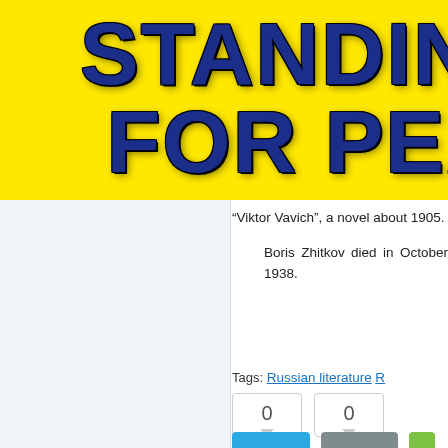[Figure (screenshot): Yellow banner header with bold dark blue lightning-textured text reading 'STANDING FOR PEA' (partially cropped)]
“Viktor Vavich”, a novel about 1905.
Boris Zhitkov died in October 1938.
Tags: Russian literature R…
0
0
Tweet
Email